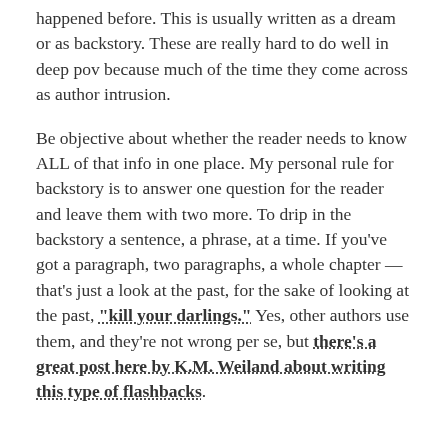happened before. This is usually written as a dream or as backstory. These are really hard to do well in deep pov because much of the time they come across as author intrusion.
Be objective about whether the reader needs to know ALL of that info in one place. My personal rule for backstory is to answer one question for the reader and leave them with two more. To drip in the backstory a sentence, a phrase, at a time. If you've got a paragraph, two paragraphs, a whole chapter — that's just a look at the past, for the sake of looking at the past, "kill your darlings." Yes, other authors use them, and they're not wrong per se, but there's a great post here by K.M. Weiland about writing this type of flashbacks.